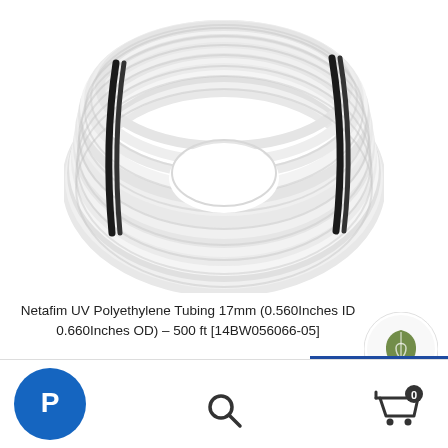[Figure (photo): A large coil of white polyethylene tubing/pipe bundled with black straps, photographed against a white background.]
Netafim UV Polyethylene Tubing 17mm (0.560Inches ID 0.660Inches OD) – 500 ft [14BW056066-05]
SALE!
[Figure (logo): Green leaf logo icon in a circle — Netafim brand eco logo]
[Figure (logo): PayPal circular blue button icon in page footer]
[Figure (other): Search magnifying glass icon in page footer]
[Figure (other): Shopping cart icon with badge showing 0 in page footer]